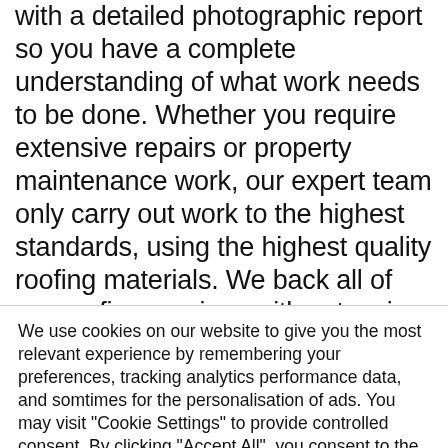with a detailed photographic report so you have a complete understanding of what work needs to be done. Whether you require extensive repairs or property maintenance work, our expert team only carry out work to the highest standards, using the highest quality roofing materials. We back all of our roofing services with extensive guarantees to ensure you have total
We use cookies on our website to give you the most relevant experience by remembering your preferences, tracking analytics performance data, and somtimes for the personalisation of ads. You may visit "Cookie Settings" to provide controlled consent. By clicking "Accept All", you consent to the use of all cookies.